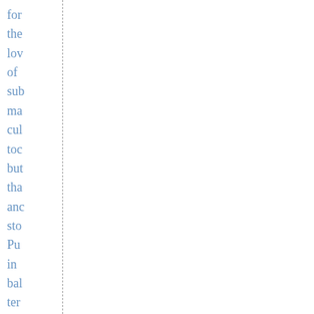for
the
lov
of
sub
ma
cul
toc
but
tha
anc
sto
Pu
in
bal
ter
Far
is
an